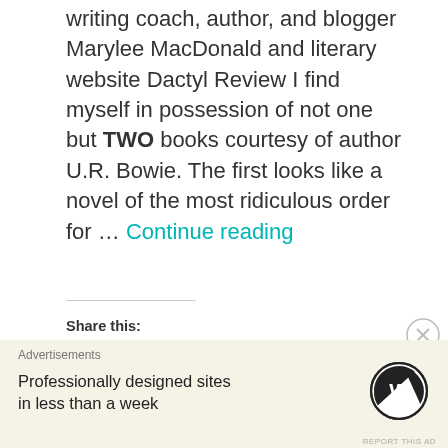writing coach, author, and blogger Marylee MacDonald and literary website Dactyl Review I find myself in possession of not one but TWO books courtesy of author U.R. Bowie. The first looks like a novel of the most ridiculous order for … Continue reading
Share this:
[Figure (infographic): Social share buttons: Twitter (blue circle), Facebook (blue circle), Pinterest (red circle), Tumblr (dark navy circle), Email (light gray circle), Print (light gray circle), More button (outlined rectangle)]
Loading...
Advertisements
Professionally designed sites in less than a week